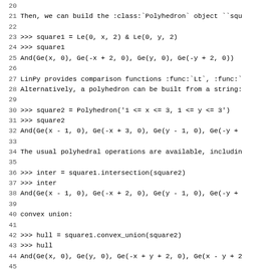Code listing showing LinPy polyhedron construction and operations, lines 20-51
20: (blank)
21: Then, we can build the :class:`Polyhedron` object ``squ
22: (blank)
23: >>> square1 = Le(0, x, 2) & Le(0, y, 2)
24: >>> square1
25: And(Ge(x, 0), Ge(-x + 2, 0), Ge(y, 0), Ge(-y + 2, 0))
26: (blank)
27: LinPy provides comparison functions :func:`Lt`, :func:
28: Alternatively, a polyhedron can be built from a string:
29: (blank)
30: >>> square2 = Polyhedron('1 <= x <= 3, 1 <= y <= 3')
31: >>> square2
32: And(Ge(x - 1, 0), Ge(-x + 3, 0), Ge(y - 1, 0), Ge(-y +
33: (blank)
34: The usual polyhedral operations are available, includin
35: (blank)
36: >>> inter = square1.intersection(square2)
37: >>> inter
38: And(Ge(x - 1, 0), Ge(-x + 2, 0), Ge(y - 1, 0), Ge(-y +
39: (blank)
40: convex union:
41: (blank)
42: >>> hull = square1.convex_union(square2)
43: >>> hull
44: And(Ge(x, 0), Ge(y, 0), Ge(-x + y + 2, 0), Ge(x - y + 2
45: (blank)
46: and projection:
47: (blank)
48: >>> square1.project([y])
49: And(Ge(x, 0), Ge(-x + 2, 0))
50: (blank)
51: Equality and inclusion tests are also provided.